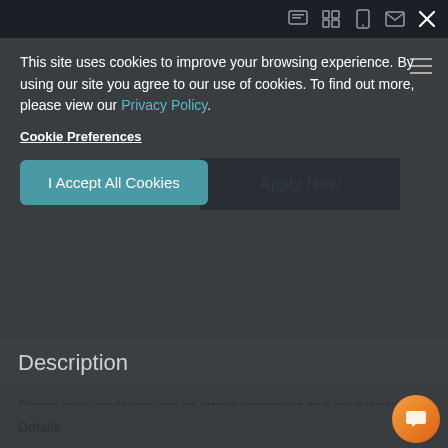[Figure (screenshot): Top icon bar with chat, grid, mobile, email, and close (X) icons on dark background]
This site uses cookies to improve your browsing experience. By using our site you agree to our use of cookies. To find out more, please view our Privacy Policy.
Cookie Preferences
I Accept All Cookies
Description
Please note, renderings are an artist's conception and are intended only as a general reference. Features, materials, finishes, layouts, and square footage may differ from the image shown.
Details